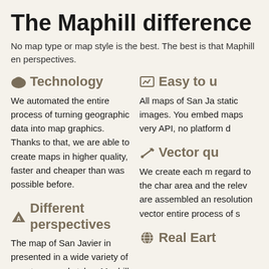The Maphill difference
No map type or map style is the best. The best is that Maphill en perspectives.
Technology
We automated the entire process of turning geographic data into map graphics. Thanks to that, we are able to create maps in higher quality, faster and cheaper than was possible before.
Easy to u
All maps of San Ja static images. You embed maps very API, no platform d
Different perspectives
The map of San Javier in presented in a wide variety of map types and styles. Maphill lets you look at the same area from many different perspectives.
Vector qu
We create each m regard to the char area and the relev are assembled an resolution vector entire process of s
Fast anywhere
Maps are served from a large number of
Real Eart